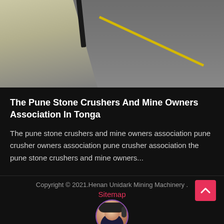[Figure (photo): Partial view of a stone crusher machine with a metal arm/rod visible, on a concrete floor with a yellow painted line]
The Pune Stone Crushers And Mine Owners Association In Tonga
The pune stone crushers and mine owners association pune crusher owners association pune crusher association the pune stone crushers and mine owners...
Copyright © 2021.Henan Unidark Mining Machinery .
Sitemap
Leave Message
Chat Online